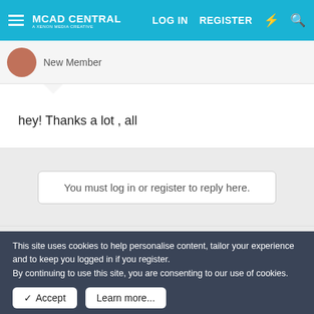MCAD CENTRAL | LOG IN | REGISTER
New Member
hey! Thanks a lot , all
You must log in or register to reply here.
Share:
LOG IN
This site uses cookies to help personalise content, tailor your experience and to keep you logged in if you register.
By continuing to use this site, you are consenting to our use of cookies.
Accept
Learn more...